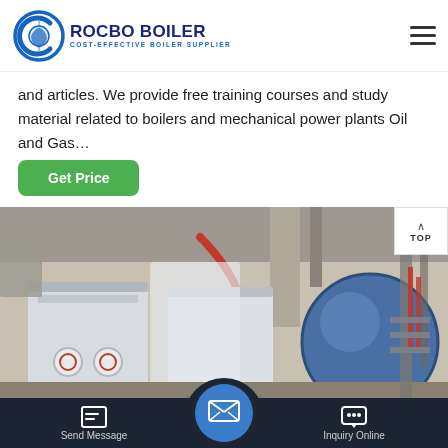[Figure (logo): Rocbo Boiler logo with circular graphic and text 'COST-EFFECTIVE BOILER SUPPLIER']
and articles. We provide free training courses and study material related to boilers and mechanical power plants Oil and Gas…
[Figure (photo): Industrial boiler installation showing white metal boiler units and blue cylindrical drum in a factory setting]
[Figure (other): Bottom navigation bar with Send Message and Inquiry Online buttons and central email icon bubble]